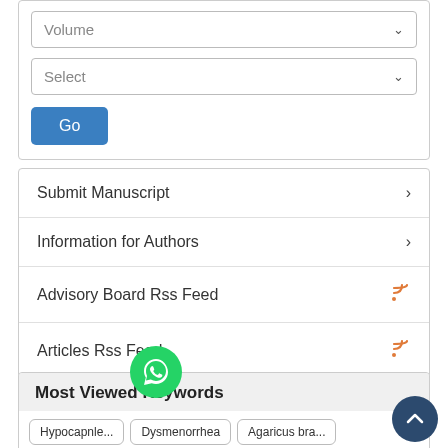[Figure (screenshot): Dropdown selector showing 'Volume' with chevron]
[Figure (screenshot): Dropdown selector showing 'Select' with chevron]
[Figure (screenshot): Blue 'Go' button]
Submit Manuscript
Information for Authors
Advisory Board Rss Feed
Articles Rss Feed
Most Viewed Keywords
Hypocapnle...
Dysmenorrhea
Agaricus bra...
Gull...
Heavy metal
Linear IgA bul...